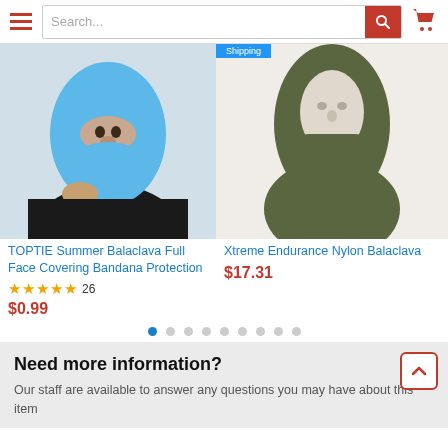Search... [search bar with cart icon]
[Figure (photo): Person wearing a blue balaclava full face covering]
[Figure (photo): Mannequin head wearing an olive/army green nylon balaclava]
TOPTIE Summer Balaclava Full Face Covering Bandana Protection
★★★★★ 26
$0.99
Xtreme Endurance Nylon Balaclava
$17.31
● ○ ○ ○ ○ ○ ○ ○ ○
Need more information?
Our staff are available to answer any questions you may have about this item